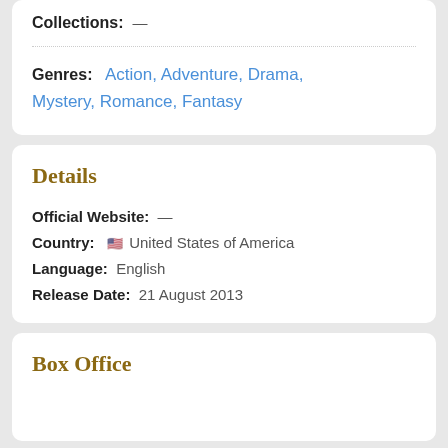Collections: —
Genres: Action, Adventure, Drama, Mystery, Romance, Fantasy
Details
Official Website: —
Country: 🇺🇸 United States of America
Language: English
Release Date: 21 August 2013
Box Office